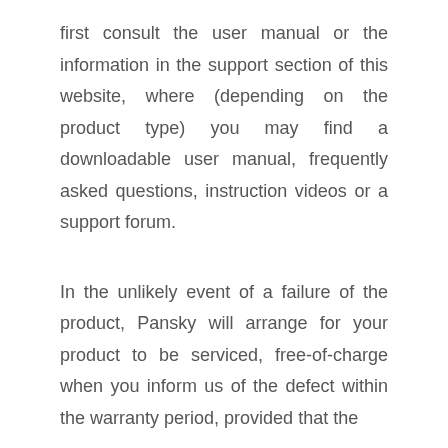first consult the user manual or the information in the support section of this website, where (depending on the product type) you may find a downloadable user manual, frequently asked questions, instruction videos or a support forum.
In the unlikely event of a failure of the product, Pansky will arrange for your product to be serviced, free-of-charge when you inform us of the defect within the warranty period, provided that the